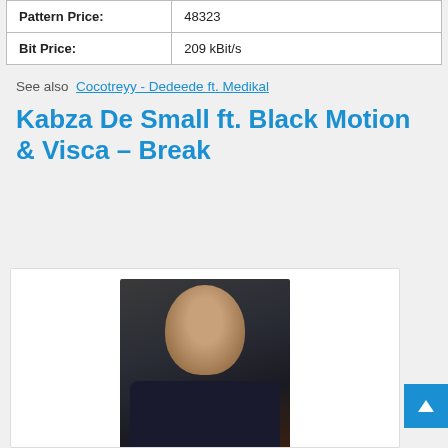| Pattern Price: | 48323 |
| Bit Price: | 209 kBit/s |
See also  Cocotreyy - Dedeede ft. Medikal
Kabza De Small ft. Black Motion & Visca – Break
[Figure (photo): Photo of a young man wearing a dark hoodie with earphones, photographed against a light background.]